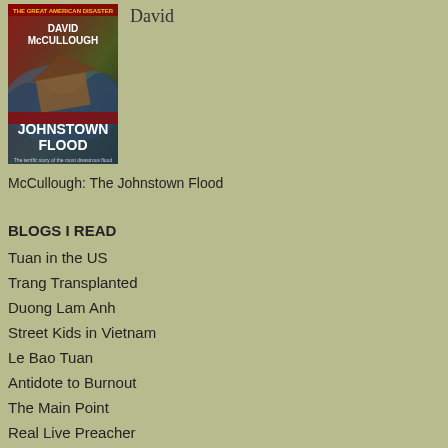[Figure (photo): Book cover of The Johnstown Flood by David McCullough]
David
McCullough: The Johnstown Flood
BLOGS I READ
Tuan in the US
Trang Transplanted
Duong Lam Anh
Street Kids in Vietnam
Le Bao Tuan
Antidote to Burnout
The Main Point
Real Live Preacher
COMPLETE ARCHIVES OF VIRTUAL-DOUG
All Postings Since June 2003
The eas was to get the is by hyc The boa on-wa win boc alo at 40 mp or so, are air